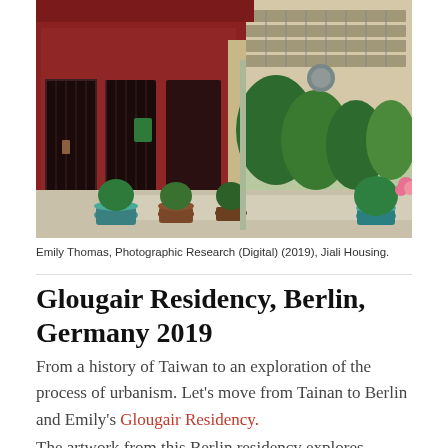[Figure (photo): Street-level photograph of Jiali housing, Taiwan. Shows traditional red-tiled building facades, metal security grilles on windows, and various potted plants and flowers lining the sidewalk including palm trees and flowering plants.]
Emily Thomas, Photographic Research (Digital) (2019), Jiali Housing.
Glougair Residency, Berlin, Germany 2019
From a history of Taiwan to an exploration of the process of urbanism. Let's move from Tainan to Berlin and Emily's Glougair Residency.
The artwork from this Berlin residency explores